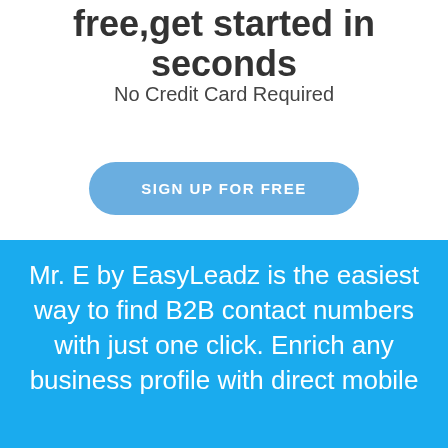free,get started in seconds
No Credit Card Required
SIGN UP FOR FREE
Mr. E by EasyLeadz is the easiest way to find B2B contact numbers with just one click. Enrich any business profile with direct mobile